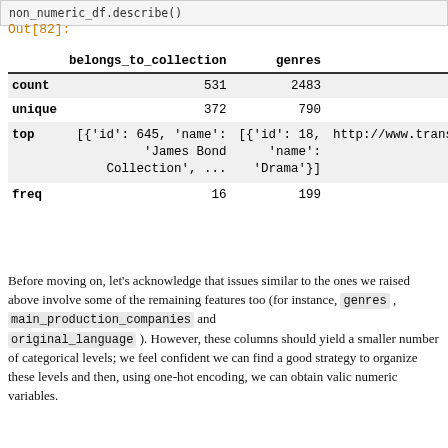non_numeric_df.describe()
Out[82]:
|  | belongs_to_collection | genres |
| --- | --- | --- |
| count | 531 | 2483 |
| unique | 372 | 790 |
| top | [{'id': 645, 'name': 'James Bond Collection', ... | [{'id': 18, 'name': 'Drama'}] | http://www.transl |
| freq | 16 | 199 |
Before moving on, let's acknowledge that issues similar to the ones we raised above involve some of the remaining features too (for instance, genres , main_production_companies and original_language ). However, these columns should yield a smaller number of categorical levels; we feel confident we can find a good strategy to organize these levels and then, using one-hot encoding, we can obtain valic numeric variables.